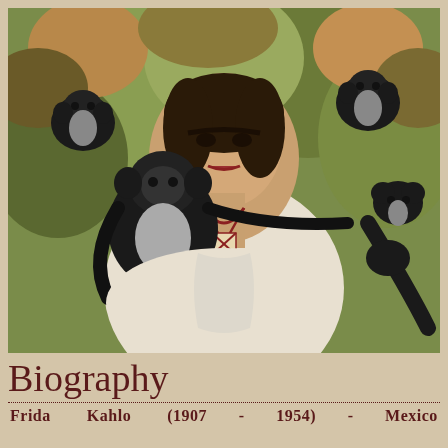[Figure (illustration): Frida Kahlo self-portrait painting with monkeys. The woman in a white blouse with a red necklace/pendant sits surrounded by several dark spider monkeys against a lush jungle background. The central monkey perches on her shoulder and chest, its tail wrapped around her arm.]
Biography
Frida   Kahlo   (1907  -  1954)  -  Mexico